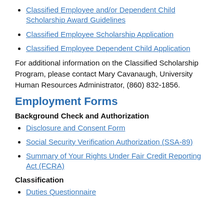Classified Employee and/or Dependent Child Scholarship Award Guidelines
Classified Employee Scholarship Application
Classified Employee Dependent Child Application
For additional information on the Classified Scholarship Program, please contact Mary Cavanaugh, University Human Resources Administrator, (860) 832-1856.
Employment Forms
Background Check and Authorization
Disclosure and Consent Form
Social Security Verification Authorization (SSA-89)
Summary of Your Rights Under Fair Credit Reporting Act (FCRA)
Classification
Duties Questionnaire